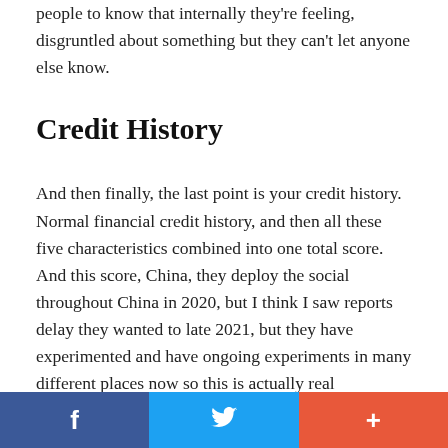people to know that internally they're feeling, disgruntled about something but they can't let anyone else know.
Credit History
And then finally, the last point is your credit history. Normal financial credit history, and then all these five characteristics combined into one total score. And this score, China, they deploy the social throughout China in 2020, but I think I saw reports delay they wanted to late 2021, but they have experimented and have ongoing experiments in many different places now so this is actually real
f  (Twitter icon)  +